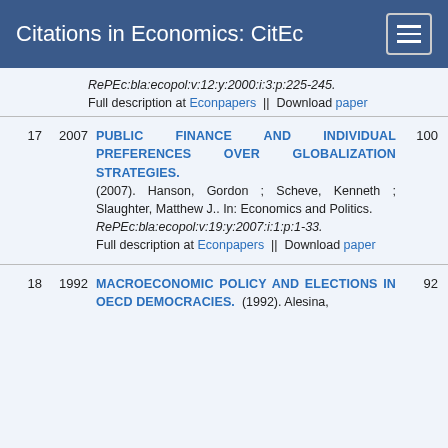Citations in Economics: CitEc
RePEc:bla:ecopol:v:12:y:2000:i:3:p:225-245. Full description at Econpapers || Download paper
17  2007  PUBLIC FINANCE AND INDIVIDUAL PREFERENCES OVER GLOBALIZATION STRATEGIES. (2007). Hanson, Gordon ; Scheve, Kenneth ; Slaughter, Matthew J.. In: Economics and Politics. RePEc:bla:ecopol:v:19:y:2007:i:1:p:1-33. Full description at Econpapers || Download paper  100
18  1992  MACROECONOMIC POLICY AND ELECTIONS IN OECD DEMOCRACIES. (1992). Alesina,  92